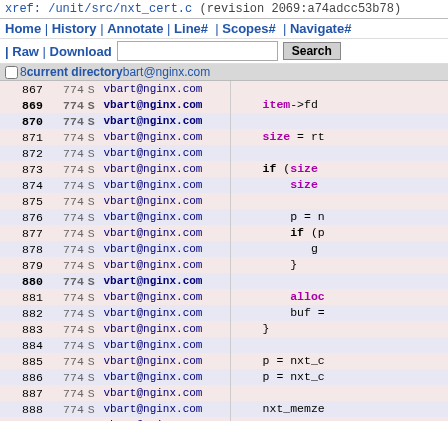xref: /unit/src/nxt_cert.c (revision 2069:a74adcc53b78)
Home | History | Annotate | Line# | Scopes# | Navigate# | Raw | Download [search input] Search
867  774 S   vbart@nginx.com
868  774 S   (checkbox) current directory  vbart@nginx.com
869  774 S   vbart@nginx.com   item->fd
870  774 S   vbart@nginx.com
871  774 S   vbart@nginx.com   size = rt
872  774 S   vbart@nginx.com
873  774 S   vbart@nginx.com   if (size
874  774 S   vbart@nginx.com      size
875  774 S   vbart@nginx.com
876  774 S   vbart@nginx.com      p = n
877  774 S   vbart@nginx.com      if (p
878  774 S   vbart@nginx.com         g
879  774 S   vbart@nginx.com      }
880  774 S   vbart@nginx.com
881  774 S   vbart@nginx.com      alloc
882  774 S   vbart@nginx.com      buf =
883  774 S   vbart@nginx.com   }
884  774 S   vbart@nginx.com
885  774 S   vbart@nginx.com   p = nxt_c
886  774 S   vbart@nginx.com   p = nxt_c
887  774 S   vbart@nginx.com
888  774 S   vbart@nginx.com   nxt_memze
889  774 S   vbart@nginx.com
890  774 S   vbart@nginx.com   file.name
891  774 S   vbart@nginx.com
892  774 S   vbart@nginx.com   nxt_...